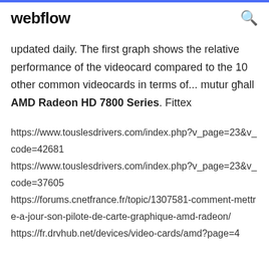webflow
updated daily. The first graph shows the relative performance of the videocard compared to the 10 other common videocards in terms of... mutur għall AMD Radeon HD 7800 Series. Fittex
https://www.touslesdrivers.com/index.php?v_page=23&v_code=42681
https://www.touslesdrivers.com/index.php?v_page=23&v_code=37605
https://forums.cnetfrance.fr/topic/1307581-comment-mettre-a-jour-son-pilote-de-carte-graphique-amd-radeon/
https://fr.drvhub.net/devices/video-cards/amd?page=4